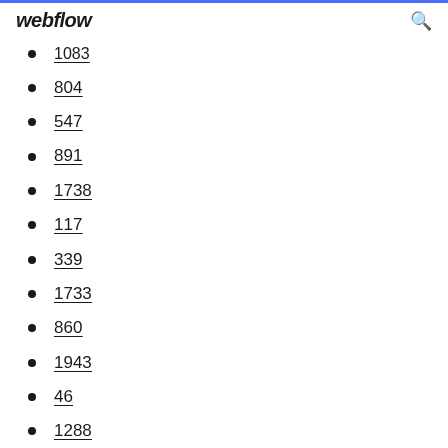webflow
1083
804
547
891
1738
117
339
1733
860
1943
46
1288
1474